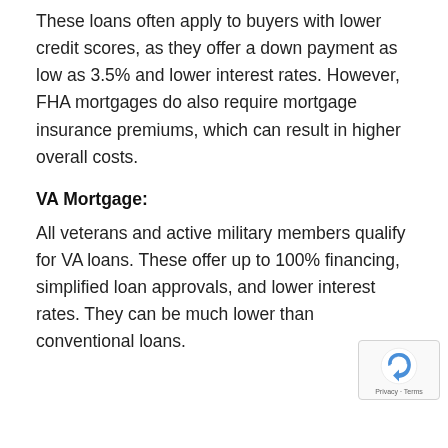These loans often apply to buyers with lower credit scores, as they offer a down payment as low as 3.5% and lower interest rates. However, FHA mortgages do also require mortgage insurance premiums, which can result in higher overall costs.
VA Mortgage:
All veterans and active military members qualify for VA loans. These offer up to 100% financing, simplified loan approvals, and lower interest rates. They can be much lower than conventional loans.